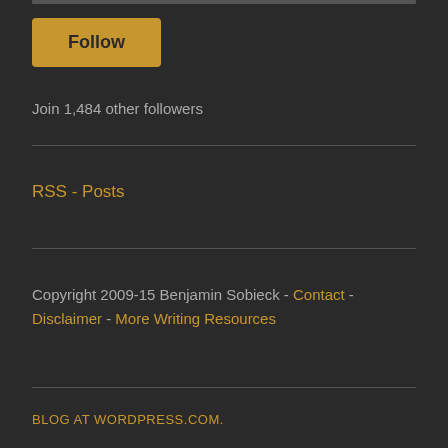[Figure (other): Follow button — golden/amber rounded rectangle with text 'Follow']
Join 1,484 other followers
RSS - Posts
Copyright 2009-15 Benjamin Sobieck - Contact - Disclaimer - More Writing Resources
BLOG AT WORDPRESS.COM.